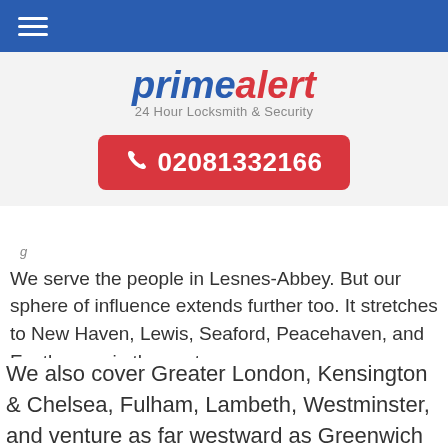primealert 24 Hour Locksmith & Security
[Figure (logo): primealert logo with phone number button 02081332166]
We serve the people in Lesnes-Abbey. But our sphere of influence extends further too. It stretches to New Haven, Lewis, Seaford, Peacehaven, and Eastbourne in the east.
We also cover Greater London, Kensington & Chelsea, Fulham, Lambeth, Westminster, and venture as far westward as Greenwich and Camden. We travel up towards London, Hounslow, Haywards Heath, Kingston